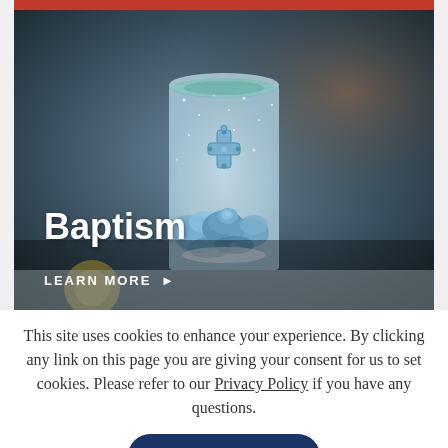[Figure (photo): Close-up photograph of a glittery glass candle or vase with a decorative blue cross and blue fabric roses at the base, with a dark blurred background. A red horizontal bar is at the top of the image.]
Baptism
LEARN MORE ▶
This site uses cookies to enhance your experience. By clicking any link on this page you are giving your consent for us to set cookies. Please refer to our Privacy Policy if you have any questions.
DISMISS